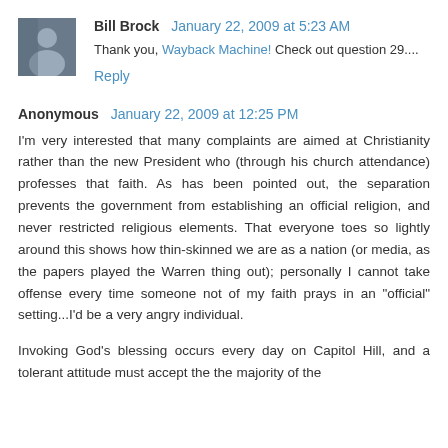Bill Brock  January 22, 2009 at 5:23 AM
Thank you, Wayback Machine! Check out question 29....
Reply
Anonymous  January 22, 2009 at 12:25 PM
I'm very interested that many complaints are aimed at Christianity rather than the new President who (through his church attendance) professes that faith. As has been pointed out, the separation prevents the government from establishing an official religion, and never restricted religious elements. That everyone toes so lightly around this shows how thin-skinned we are as a nation (or media, as the papers played the Warren thing out); personally I cannot take offense every time someone not of my faith prays in an "official" setting...I'd be a very angry individual.
Invoking God's blessing occurs every day on Capitol Hill, and a tolerant attitude must accept the the majority of the